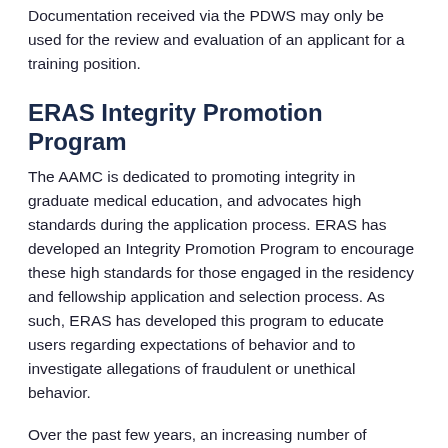Documentation received via the PDWS may only be used for the review and evaluation of an applicant for a training position.
ERAS Integrity Promotion Program
The AAMC is dedicated to promoting integrity in graduate medical education, and advocates high standards during the application process. ERAS has developed an Integrity Promotion Program to encourage these high standards for those engaged in the residency and fellowship application and selection process. As such, ERAS has developed this program to educate users regarding expectations of behavior and to investigate allegations of fraudulent or unethical behavior.
Over the past few years, an increasing number of fraudulent application allegations have been reported to ERAS by